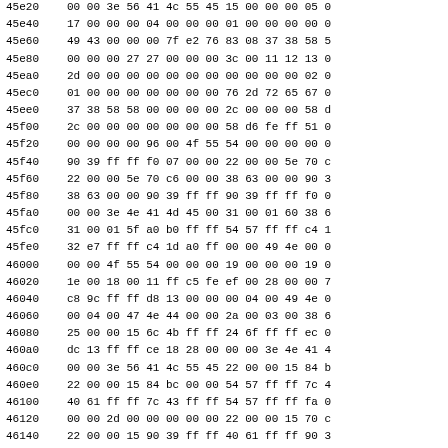| addr | b0 | b1 | b2 | b3 | b4 | b5 | b6 | b7 | b8 | b9 | ba | bb | bc | bd |
| --- | --- | --- | --- | --- | --- | --- | --- | --- | --- | --- | --- | --- | --- | --- |
| 45e20 | 00 | 00 | 3e | 56 | 41 | 4c | 55 | 45 | 15 | 00 | 00 | 00 | 05 | 0 |
| 45e40 | 17 | 00 | 00 | 00 | 04 | 00 | 00 | 00 | 01 | 00 | 00 | 00 | 00 | 0 |
| 45e60 | 49 | 43 | 00 | 00 | 00 | 7f | e2 | 76 | 83 | 08 | 37 | 38 | 58 | 5 |
| 45e80 | 00 | 00 | 00 | 27 | 27 | 00 | 00 | 00 | 3c | 00 | 11 | 12 | 13 | 0 |
| 45ea0 | 2d | 00 | 00 | 00 | 00 | 00 | 00 | 00 | 00 | 00 | 00 | 00 | 02 | 0 |
| 45ec0 | 01 | 00 | 00 | 00 | 00 | 00 | 00 | 00 | 76 | 2d | 72 | 65 | 67 | 0 |
| 45ee0 | 37 | 38 | 58 | 58 | 00 | 00 | 00 | 00 | 2c | 00 | 00 | 00 | 58 | d |
| 45f00 | 2c | 00 | 00 | 00 | 00 | 00 | 00 | 00 | 58 | d6 | fe | ff | 51 | 0 |
| 45f20 | 00 | 00 | 00 | 00 | 96 | 00 | 4f | 55 | 54 | 00 | 00 | 00 | 00 | 0 |
| 45f40 | 90 | 39 | ff | ff | f0 | 07 | 00 | 00 | 22 | 00 | 00 | 5e | 70 | c |
| 45f60 | 22 | 00 | 00 | 5e | 70 | c6 | 00 | 00 | 38 | 63 | 00 | 00 | 90 | 3 |
| 45f80 | 38 | 63 | 00 | 00 | 90 | 39 | ff | ff | 90 | 39 | ff | ff | f0 | 0 |
| 45fa0 | 00 | 00 | 3e | 4e | 41 | 4d | 45 | 00 | 31 | 00 | 01 | 60 | 38 | 6 |
| 45fc0 | 31 | 00 | 01 | 5f | a0 | b0 | ff | ff | 54 | 57 | ff | ff | c4 | 1 |
| 45fe0 | 32 | e7 | ff | ff | c4 | 1d | a0 | ff | 00 | 00 | 49 | 4e | 00 | 0 |
| 46000 | 00 | 00 | 4f | 55 | 54 | 00 | 00 | 00 | 19 | 00 | 00 | 00 | 19 | 0 |
| 46020 | 1e | 00 | 18 | 00 | 11 | ff | c5 | fe | ef | 00 | 28 | 00 | 00 | 7 |
| 46040 | c8 | 9c | ff | ff | d8 | 13 | 00 | 00 | 00 | 04 | 00 | 49 | 4e | 0 |
| 46060 | 00 | 04 | 00 | 47 | 4e | 44 | 00 | 00 | 2a | 00 | 03 | 00 | 38 | 6 |
| 46080 | 25 | 00 | 00 | 15 | 6c | 4b | ff | ff | 24 | 6f | ff | ff | ec | 0 |
| 460a0 | dc | 13 | ff | ff | ce | 18 | 28 | 00 | 00 | 00 | 3e | 4e | 41 | 4 |
| 460c0 | 00 | 00 | 3e | 56 | 41 | 4c | 55 | 45 | 22 | 00 | 00 | 15 | 84 | b |
| 460e0 | 22 | 00 | 00 | 15 | 84 | bc | 00 | 00 | 54 | 57 | ff | ff | 7c | 4 |
| 46100 | 40 | 61 | ff | ff | 7c | 43 | ff | ff | 54 | 57 | ff | ff | fa | 0 |
| 46120 | 00 | 00 | 2d | 00 | 00 | 00 | 00 | 00 | 22 | 00 | 00 | 15 | 70 | c |
| 46140 | 22 | 00 | 00 | 15 | 90 | 39 | ff | ff | 40 | 61 | ff | ff | 90 | 3 |
| 46160 | 64 | ce | ff | ff | 0e | 7a | ff | ff | 00 | 00 | 00 | 00 | 00 | 0 |
| 46180 | 00 | 00 | 00 | 00 | 00 | 00 | 00 | 00 | 26 | 00 | 00 | 15 | 82 | b |
| 461a0 | 26 | 00 | 00 | 15 | 46 | dd | ff | ff | 3c | e2 | ff | ff | ba | 2 |
| 461c0 | 64 | ce | ff | ff | 7c | 40 | 00 | 00 | 00 | 00 | 00 | 00 | 00 | 0 |